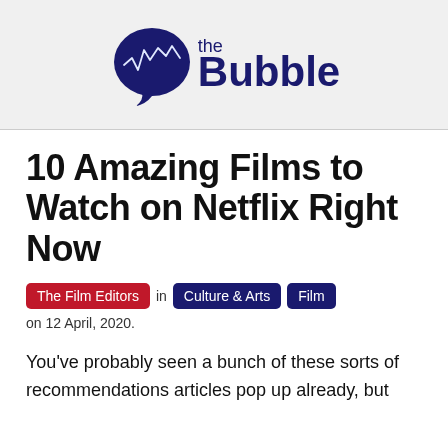[Figure (logo): The Bubble logo: dark navy speech bubble icon with a line graph inside, followed by 'the Bubble' text in dark navy bold font]
10 Amazing Films to Watch on Netflix Right Now
The Film Editors in Culture & Arts Film on 12 April, 2020.
You've probably seen a bunch of these sorts of recommendations articles pop up already, but